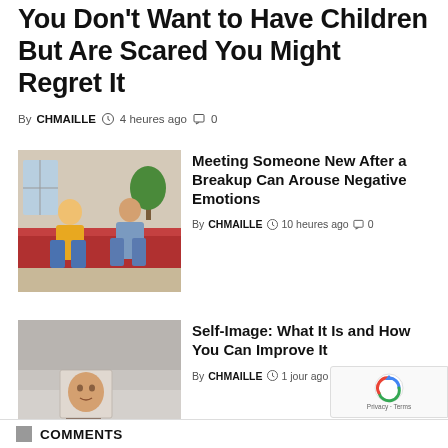You Don't Want to Have Children But Are Scared You Might Regret It
By CHMAILLE  4 heures ago  0
[Figure (photo): Couple sitting on a red couch arguing, woman in yellow top and man in blue shirt turned away from each other]
Meeting Someone New After a Breakup Can Arouse Negative Emotions
By CHMAILLE  10 heures ago  0
[Figure (photo): Hand holding a small mirror reflecting a face]
Self-Image: What It Is and How You Can Improve It
By CHMAILLE  1 jour ago  0
COMMENTS